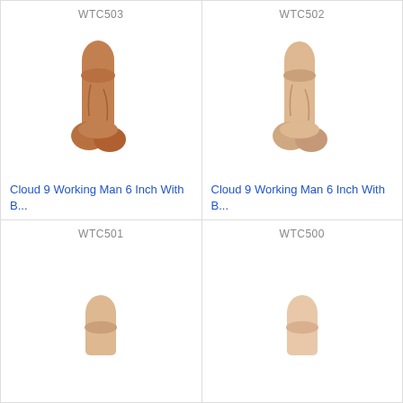WTC503
[Figure (photo): Cloud 9 Working Man 6 Inch dildo product photo, brown/tan color]
Cloud 9 Working Man 6 Inch With B...
WTC502
[Figure (photo): Cloud 9 Working Man 6 Inch dildo product photo, light tan/flesh color]
Cloud 9 Working Man 6 Inch With B...
WTC501
[Figure (photo): Cloud 9 Working Man dildo product photo partial, light tan color, top portion visible]
WTC500
[Figure (photo): Cloud 9 Working Man dildo product photo partial, light flesh color, top portion visible]